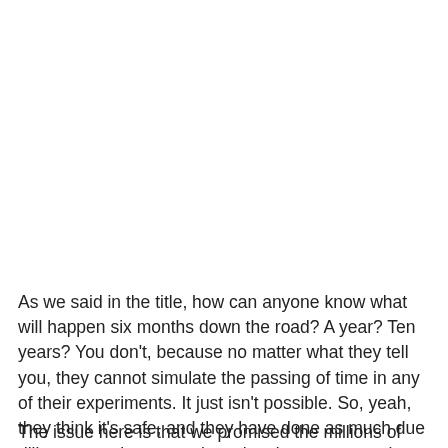As we said in the title, how can anyone know what will happen six months down the road?  A year?  Ten years?  You don't, because no matter what they tell you, they cannot simulate the passing of time in any of their experiments.  It just isn't possible.  So, yeah, they think it's safe, and they have done as much due diligence as they can, given the circumstances, but they can never say with any real certainty that it is safe.
The issue here is that we promised the millions of Americans...